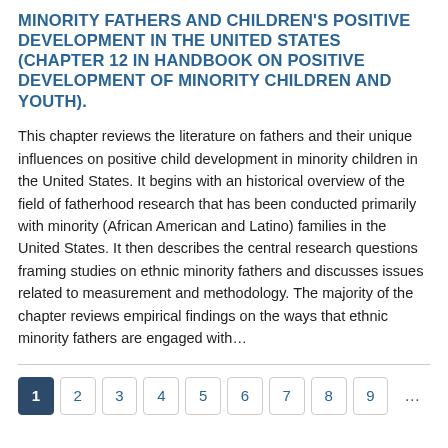MINORITY FATHERS AND CHILDREN'S POSITIVE DEVELOPMENT IN THE UNITED STATES (CHAPTER 12 IN HANDBOOK ON POSITIVE DEVELOPMENT OF MINORITY CHILDREN AND YOUTH).
This chapter reviews the literature on fathers and their unique influences on positive child development in minority children in the United States. It begins with an historical overview of the field of fatherhood research that has been conducted primarily with minority (African American and Latino) families in the United States. It then describes the central research questions framing studies on ethnic minority fathers and discusses issues related to measurement and methodology. The majority of the chapter reviews empirical findings on the ways that ethnic minority fathers are engaged with…